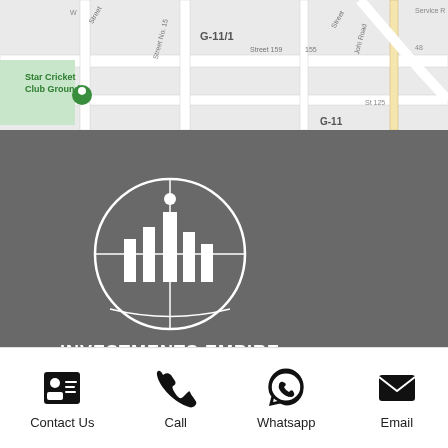[Figure (map): Google Maps screenshot showing location pin in G-11/1 area near Star Cricket Club Ground, Islamabad. Streets labeled including G-11, G-11/1, Street 159, Street No. 15, Johi Road, Service Road, St 125.]
[Figure (logo): Investments Empire logo - white buildings/bar chart inside a circular design with a dot on top, on dark gray background. Text reads INVESTMENTS EMPIRE with tagline Towards a Glorious Future.]
Contact Us
Call
Whatsapp
Email